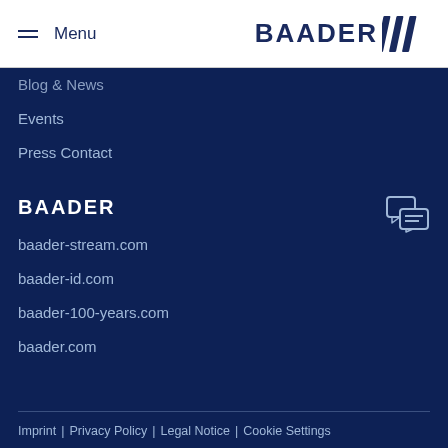Menu | BAADER logo
Blog & News
Events
Press Contact
BAADER
baader-stream.com
baader-id.com
baader-100-years.com
baader.com
Imprint | Privacy Policy | Legal Notice | Cookie Settings